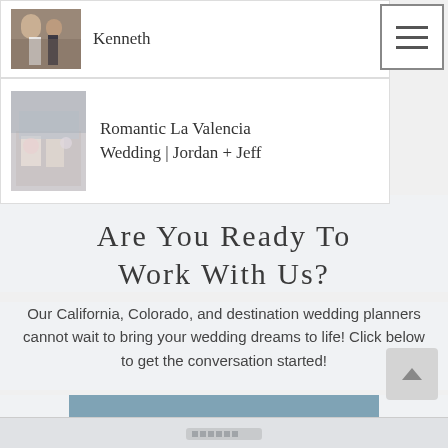[Figure (photo): Partial view of a wedding couple photo, cropped at top]
Kenneth
[Figure (photo): Wedding reception table decoration photo - Romantic La Valencia Wedding]
Romantic La Valencia Wedding | Jordan + Jeff
Are You Ready To Work With Us?
Our California, Colorado, and destination wedding planners cannot wait to bring your wedding dreams to life! Click below to get the conversation started!
Yes! I'm Ready To Connect!!